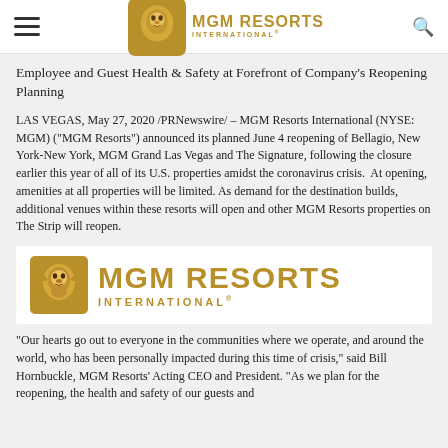MGM RESORTS INTERNATIONAL
Employee and Guest Health & Safety at Forefront of Company's Reopening Planning
LAS VEGAS, May 27, 2020 /PRNewswire/ – MGM Resorts International (NYSE: MGM) ("MGM Resorts") announced its planned June 4 reopening of Bellagio, New York-New York, MGM Grand Las Vegas and The Signature, following the closure earlier this year of all of its U.S. properties amidst the coronavirus crisis.  At opening, amenities at all properties will be limited. As demand for the destination builds, additional venues within these resorts will open and other MGM Resorts properties on The Strip will reopen.
[Figure (logo): MGM Resorts International logo with lion icon in gold on white background]
"Our hearts go out to everyone in the communities where we operate, and around the world, who has been personally impacted during this time of crisis," said Bill Hornbuckle, MGM Resorts' Acting CEO and President. "As we plan for the reopening, the health and safety of our guests and..."